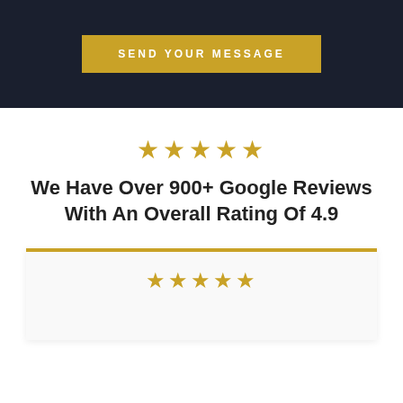[Figure (screenshot): Dark navy header section with a gold 'SEND YOUR MESSAGE' button centered]
[Figure (other): Five gold star rating icons]
We Have Over 900+ Google Reviews With An Overall Rating Of 4.9
[Figure (other): Review card with gold top border and five gold stars at the bottom of the page]